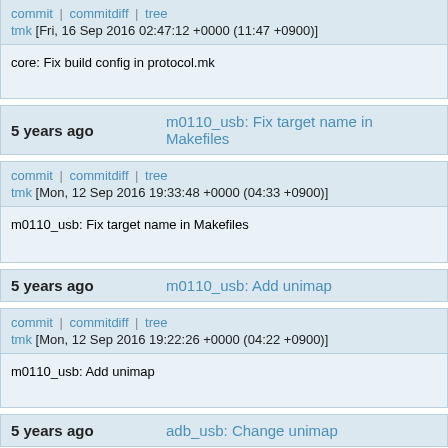commit | commitdiff | tree
tmk [Fri, 16 Sep 2016 02:47:12 +0000 (11:47 +0900)]
core: Fix build config in protocol.mk
5 years ago    m0110_usb: Fix target name in Makefiles
commit | commitdiff | tree
tmk [Mon, 12 Sep 2016 19:33:48 +0000 (04:33 +0900)]
m0110_usb: Fix target name in Makefiles
5 years ago    m0110_usb: Add unimap
commit | commitdiff | tree
tmk [Mon, 12 Sep 2016 19:22:26 +0000 (04:22 +0900)]
m0110_usb: Add unimap
5 years ago    adb_usb: Change unimap